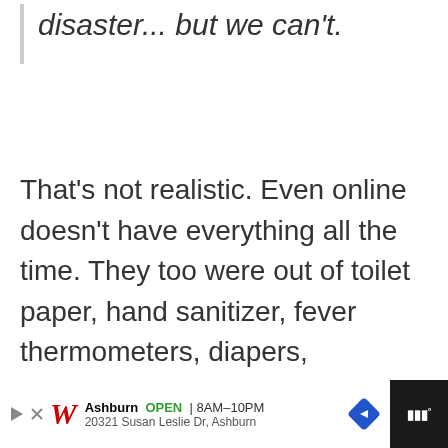disaster... but we can't.
That's not realistic. Even online doesn't have everything all the time. They too were out of toilet paper, hand sanitizer, fever thermometers, diapers, disinfecting wipes, canned foods such as meats and beans, etc.
[Figure (other): Gray advertisement placeholder box]
Ashburn OPEN | 8AM–10PM 20321 Susan Leslie Dr, Ashburn